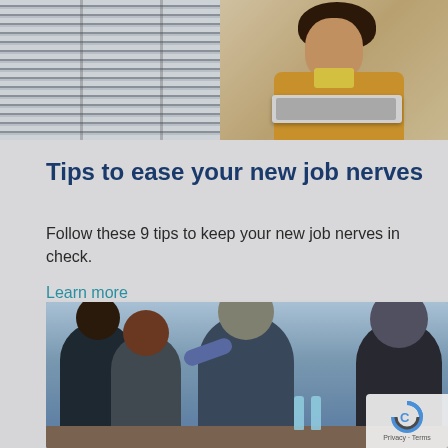[Figure (photo): Top-left: venetian blinds / window, top-right: woman in tan blazer holding laptop]
Tips to ease your new job nerves
Follow these 9 tips to keep your new job nerves in check.
Learn more
[Figure (photo): Business meeting: group of people around a table in discussion, one man gesturing with finger pointed up]